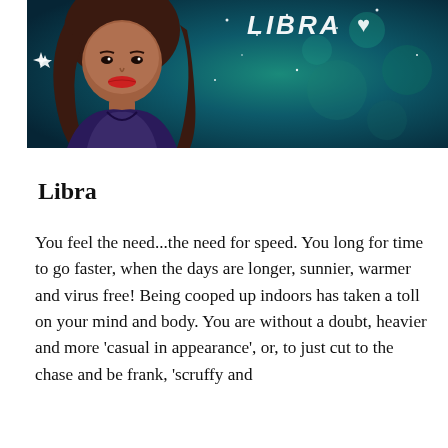[Figure (illustration): Illustration of a cartoon girl with long dark hair, red lips, wearing a dark purple outfit, against a teal/dark turquoise starry background with the word 'LIBRA' and a heart in white italic text in the upper right]
Libra
You feel the need...the need for speed. You long for time to go faster, when the days are longer, sunnier, warmer and virus free! Being cooped up indoors has taken a toll on your mind and body. You are without a doubt, heavier and more 'casual in appearance', or, to just cut to the chase and be frank, 'scruffy and